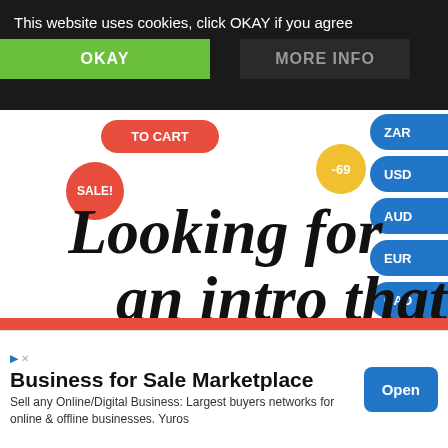This website uses cookies, click OKAY if you agree
OKAY
MORE INFO
ZAR
-69
USD
AUD
EUR
CAD
GBP
SALE!
Looking for an intro that will
This site uses Cookies to make your experience better. If you agree, Please click on Dismiss. Also see our Privacy Policy
Business for Sale Marketplace
Sell any Online/Digital Business: Largest buyers networks for online & offline businesses. Yuros
Open